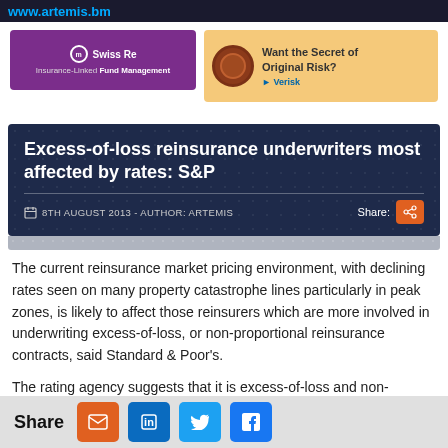www.artemis.bm
[Figure (advertisement): Swiss Re Insurance-Linked Fund Management purple banner ad]
[Figure (advertisement): Verisk 'Want the Secret of Original Risk?' amber banner ad]
Excess-of-loss reinsurance underwriters most affected by rates: S&P
8TH AUGUST 2013 - AUTHOR: ARTEMIS
The current reinsurance market pricing environment, with declining rates seen on many property catastrophe lines particularly in peak zones, is likely to affect those reinsurers which are more involved in underwriting excess-of-loss, or non-proportional reinsurance contracts, said Standard & Poor's.
The rating agency suggests that it is excess-of-loss and non-
Share